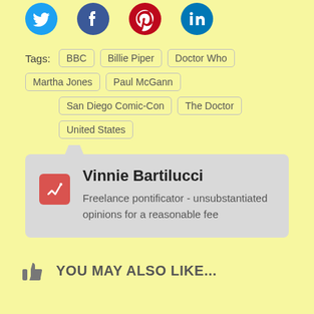[Figure (illustration): Social media share icons: Twitter (blue bird), Facebook (blue f), Pinterest (red p), LinkedIn (blue in)]
Tags: BBC  Billie Piper  Doctor Who  Martha Jones  Paul McGann  San Diego Comic-Con  The Doctor  United States
Vinnie Bartilucci
Freelance pontificator - unsubstantiated opinions for a reasonable fee
YOU MAY ALSO LIKE...